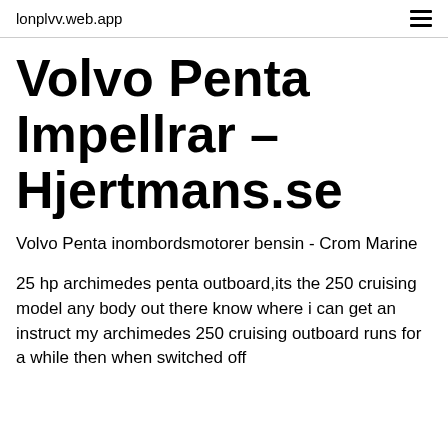lonplvv.web.app
Volvo Penta Impellrar – Hjertmans.se
Volvo Penta inombordsmotorer bensin - Crom Marine
25 hp archimedes penta outboard,its the 250 cruising model any body out there know where i can get an instruct my archimedes 250 cruising outboard runs for a while then when switched off